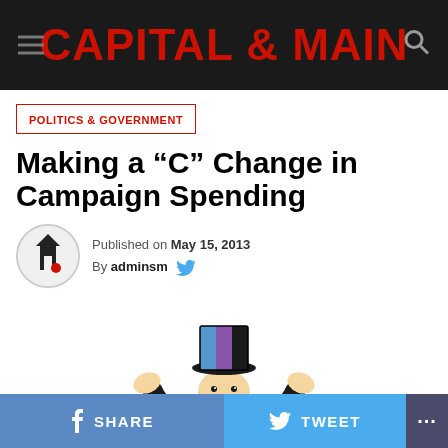CAPITAL & MAIN
POLITICS & GOVERNMENT
Making a “C” Change in Campaign Spending
Published on May 15, 2013
By adminsm
[Figure (illustration): Monopoly Man cartoon character in a top hat with arms outstretched]
SHARE   TWEET